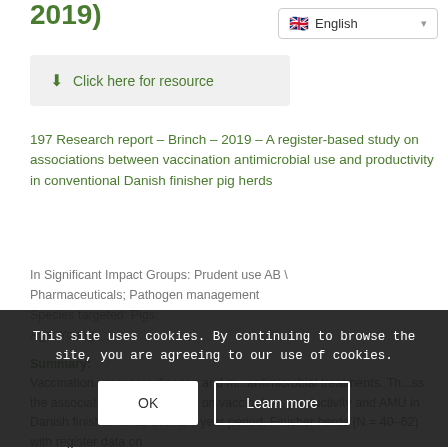2019)
[Figure (screenshot): Language selector dropdown showing English with UK flag]
[Figure (screenshot): Click here for resource download button in grey box]
197 Research report – Brinch – 2019 – A register-based study on associations between vaccination antimicrobial use and productivity in conventional Danish finisher pig herds
In Significant Impact Groups: Prudent use AB \ Pharmaceuticals; Pathogen management
Species targeted: Pigs;
Age: Young;
Summary:
Vaccination...prevents disease and m...antimicrobial treatments. Th...ss the associations between data on vaccination, productivity and AMU in Danish finisher herds over a 4-year period. Finisher herds (N = 40–62) with register data on
This site uses cookies. By continuing to browse the site, you are agreeing to our use of cookies.